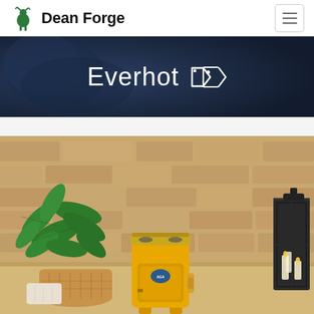Dean Forge
[Figure (screenshot): Dean Forge website header with logo (green blacksmith figure) and navigation hamburger menu button]
[Figure (photo): Hero banner with dark blue/navy background and the text 'Everhot' with a price tag icon in white]
[Figure (photo): Product photo showing a yellow Everhot range cooker/stove placed against a rustic stone wall background, with a large green potted plant in a wicker basket on the left and a tall dark glass lantern with candles on the right]